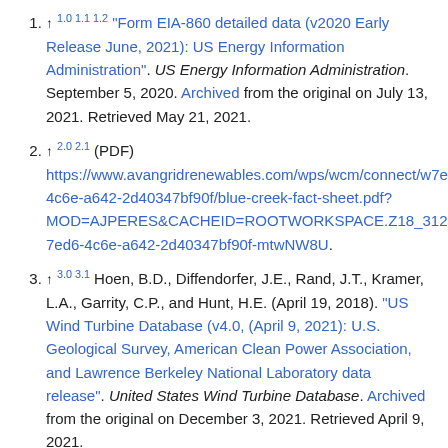↑ 1.0 1.1 1.2 "Form EIA-860 detailed data (v2020 Early Release June, 2021): US Energy Information Administration". US Energy Information Administration. September 5, 2020. Archived from the original on July 13, 2021. Retrieved May 21, 2021.
↑ 2.0 2.1 (PDF) https://www.avangridrenewables.com/wps/wcm/connect/w7ed6-4c6e-a642-2d40347bf90f/blue-creek-fact-sheet.pdf?MOD=AJPERES&CACHEID=ROOTWORKSPACE.Z18_312ef8e0a-7ed6-4c6e-a642-2d40347bf90f-mtwNW8U.
↑ 3.0 3.1 Hoen, B.D., Diffendorfer, J.E., Rand, J.T., Kramer, L.A., Garrity, C.P., and Hunt, H.E. (April 19, 2018). "US Wind Turbine Database (v4.0, (April 9, 2021): U.S. Geological Survey, American Clean Power Association, and Lawrence Berkeley National Laboratory data release". United States Wind Turbine Database. Archived from the original on December 3, 2021. Retrieved April 9, 2021.